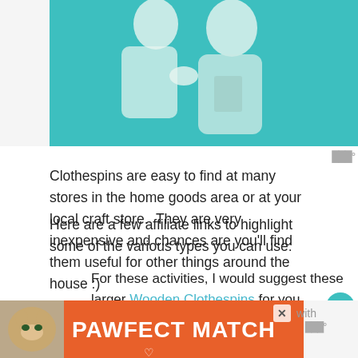[Figure (illustration): Teal-background advertisement banner for Alzheimer's Association showing two illustrated people — a caregiver and an older patient. 'ad' icon and 'alzheimer's association' logo in lower right of banner.]
Clothespins are easy to find at many stores in the home goods area or at your local craft store.  They are very inexpensive and chances are you'll find them useful for other things around the house :)
Here are a few affiliate links to highlight some of the various types you can use:
For these activities, I would suggest these larger Wooden Clothespins for you, children.  I prefer these over the plastic ones --
[Figure (photo): Bottom banner ad: orange background with a cat photo on the left and 'PAWFECT MATCH' text in large white bold font. An X close button appears in the upper right.]